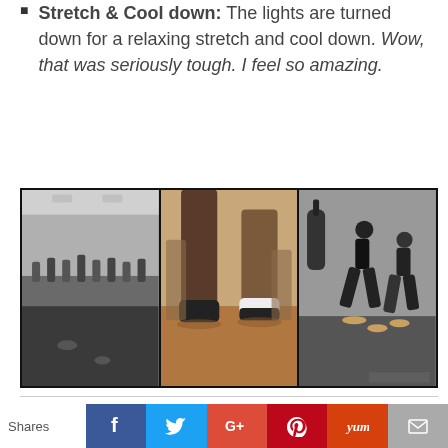Stretch & Cool down: The lights are turned down for a relaxing stretch and cool down. Wow, that was seriously tough. I feel so amazing.
[Figure (photo): Three-panel black and white photo collage showing fitness/exercise scenes: left panel shows a gym class with people, center panel shows close-up of feet and legs stretching, right panel shows people doing lunges or stretches with a punching bag in background.]
Shares [Facebook] [Twitter] [Google+] [Pinterest] [Yummly] [Email]